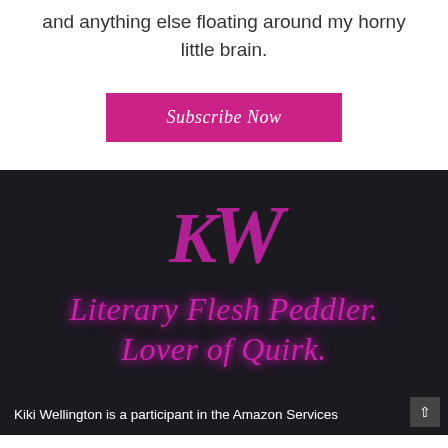and anything else floating around my horny little brain.
[Figure (other): Pink/magenta Subscribe Now button]
[Figure (logo): KW monogram logo in magenta script on dark background]
Literary Flesh Peddler. Lover of Quirk.
Kiki Wellington is a participant in the Amazon Services